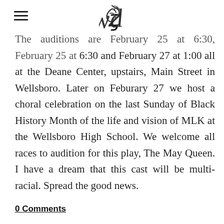[hamburger menu icon] [decorative logo]
The auditions are February 25 at 6:30, February 25 at 6:30 and February 27 at 1:00 all at the Deane Center, upstairs, Main Street in Wellsboro. Later on Feburary 27 we host a choral celebration on the last Sunday of Black History Month of the life and vision of MLK at the Wellsboro High School. We welcome all races to audition for this play, The May Queen. I have a dream that this cast will be multi-racial. Spread the good news.
0 Comments